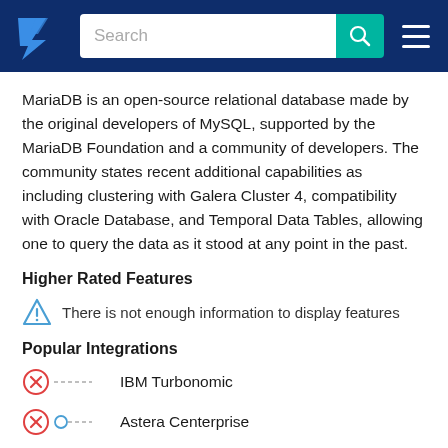TrustRadius — Search bar and navigation
MariaDB is an open-source relational database made by the original developers of MySQL, supported by the MariaDB Foundation and a community of developers. The community states recent additional capabilities as including clustering with Galera Cluster 4, compatibility with Oracle Database, and Temporal Data Tables, allowing one to query the data as it stood at any point in the past.
Higher Rated Features
There is not enough information to display features
Popular Integrations
IBM Turbonomic
Astera Centerprise